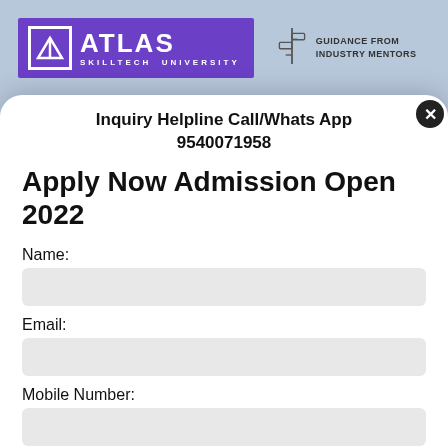[Figure (logo): Atlas Skilltech University logo - purple rectangle with white triangle/A icon and ATLAS text, alongside a signpost icon with 'GUIDANCE FROM INDUSTRY MENTORS' text]
Inquiry Helpline Call/Whats App
9540071958
Apply Now Admission Open 2022
Name:
Email:
Mobile Number:
Current location: